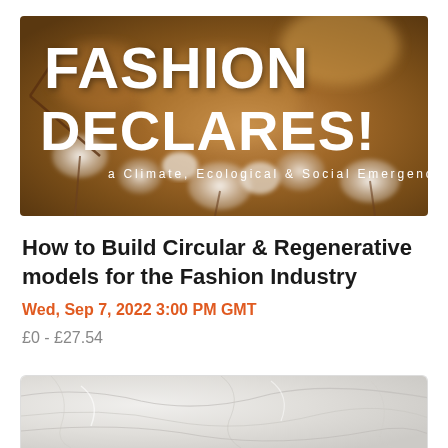[Figure (photo): Fashion Declares! banner image with cotton plants in warm brown/golden tones. White bold text reads 'FASHION DECLARES!' with subtitle 'a Climate, Ecological & Social Emergency']
How to Build Circular & Regenerative models for the Fashion Industry
Wed, Sep 7, 2022 3:00 PM GMT
£0 - £27.54
[Figure (photo): Partial view of another card with crumpled white/light grey fabric or paper texture at the bottom of the page]